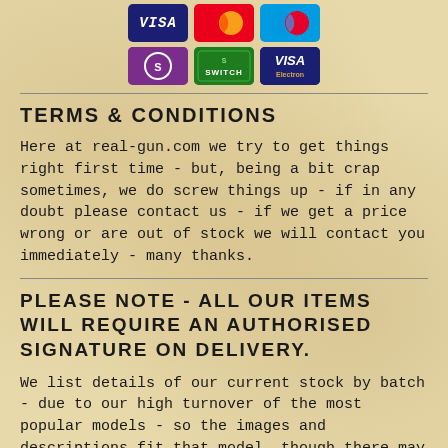[Figure (other): Payment card logos: Visa, Mastercard, Maestro (top row); Solo, Switch, Visa Electron (bottom row)]
TERMS & CONDITIONS
Here at real-gun.com we try to get things right first time - but, being a bit crap sometimes, we do screw things up - if in any doubt please contact us - if we get a price wrong or are out of stock we will contact you immediately - many thanks.
PLEASE NOTE - ALL OUR ITEMS WILL REQUIRE AN AUTHORISED SIGNATURE ON DELIVERY.
We list details of our current stock by batch - due to our high turnover of the most popular models - so the images and descriptions fit that model, though there may be slight